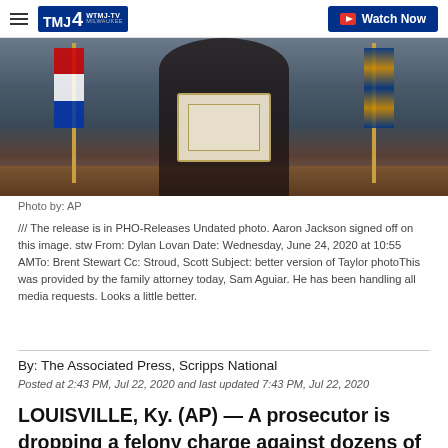WTMJ-TV Milwaukee | Watch Now
[Figure (photo): Person holding a certificate/award between two flags, with an American flag on the left and a state flag with gold fringe on the right, at a formal ceremony]
Photo by: AP
/// The release is in PHO-Releases Undated photo. Aaron Jackson signed off on this image. stw From: Dylan Lovan Date: Wednesday, June 24, 2020 at 10:55 AMTo: Brent Stewart Cc: Stroud, Scott Subject: better version of Taylor photoThis was provided by the family attorney today, Sam Aguiar. He has been handling all media requests. Looks a little better.
By: The Associated Press, Scripps National
Posted at 2:43 PM, Jul 22, 2020 and last updated 7:43 PM, Jul 22, 2020
LOUISVILLE, Ky. (AP) — A prosecutor is dropping a felony charge against dozens of protesters who gathered at the Kentucky Attorney General's home to demand justice in Breonna Taylor's death.